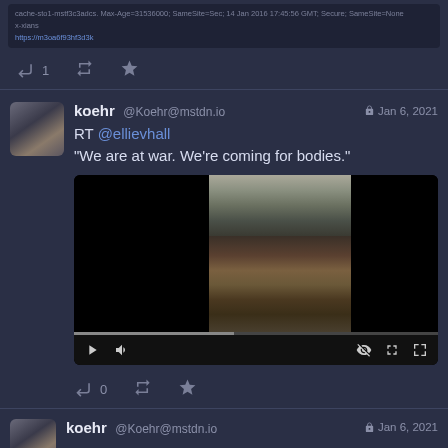[Figure (screenshot): Mastodon social media feed screenshot showing posts by 'koehr @Koehr@mstdn.io'. First post shows a dark text block with metadata. Below are action icons (reply '1', retweet, star). Second post dated Jan 6, 2021 with text 'RT @ellievhall "We are at war. We're coming for bodies."' and an embedded video player showing a crowd scene. Below are action icons (reply '0', retweet, star). Third post header visible at bottom also by koehr dated Jan 6, 2021.]